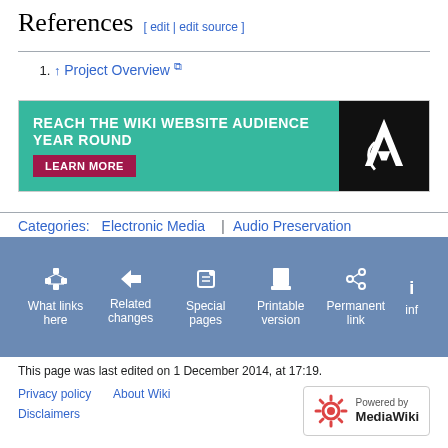References [ edit | edit source ]
1. ↑ Project Overview 🔗
[Figure (other): Advertisement banner: REACH THE WIKI WEBSITE AUDIENCE YEAR ROUND — LEARN MORE, with AIC logo on black background]
Categories: Electronic Media | Audio Preservation
[Figure (infographic): Toolbox navigation bar with icons: What links here, Related changes, Special pages, Printable version, Permanent link, inf...]
This page was last edited on 1 December 2014, at 17:19.
Privacy policy   About Wiki   Disclaimers   Powered by MediaWiki